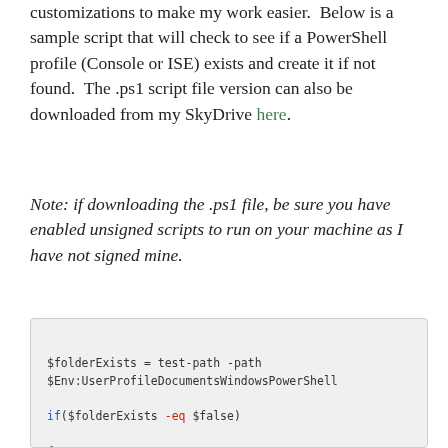customizations to make my work easier.  Below is a sample script that will check to see if a PowerShell profile (Console or ISE) exists and create it if not found.  The .ps1 script file version can also be downloaded from my SkyDrive here.
Note: if downloading the .ps1 file, be sure you have enabled unsigned scripts to run on your machine as I have not signed mine.
[Figure (screenshot): Code block showing PowerShell script with $folderExists = test-path -path $Env:UserProfileDocumentsWindowsPowerShell, if($folderExists -eq $false) conditional, opening brace, and new-item -type directory -path command]